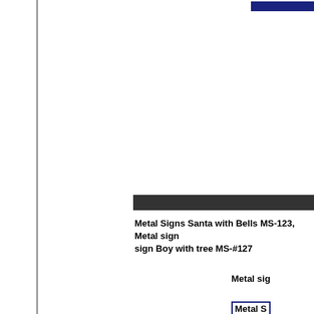Metal Signs Santa with Bells MS-123, Metal sign... sign Boy with tree MS-#127
Metal sig...
Metal S...